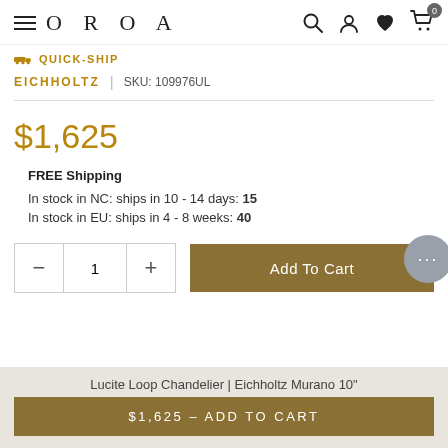OROA
QUICK-SHIP
EICHHOLTZ  |  SKU: 109976UL
$1,625
FREE Shipping
In stock in NC: ships in 10 - 14 days: 15
In stock in EU: ships in 4 - 8 weeks: 40
1  Add To Cart
Lucite Loop Chandelier | Eichholtz Murano 10"
$1,625 - ADD TO CART